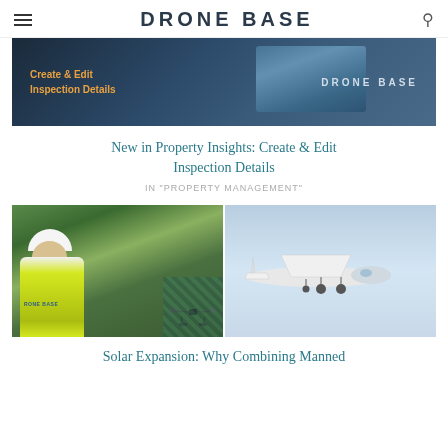DRONE BASE
[Figure (screenshot): DroneBase banner image showing 'Create & Edit Inspection Details' text in orange on dark blue background with aerial view and DRONE BASE logo]
New in Property Insights: Create & Edit Inspection Details
IN "PROPERTY MANAGEMENT"
[Figure (photo): Two side-by-side photos: left shows a person in yellow DroneBase safety vest and white hard hat looking at a drone near solar panels; right shows a small white Cessna-style airplane in flight against a blue sky]
Solar Expansion: Why Combining Manned